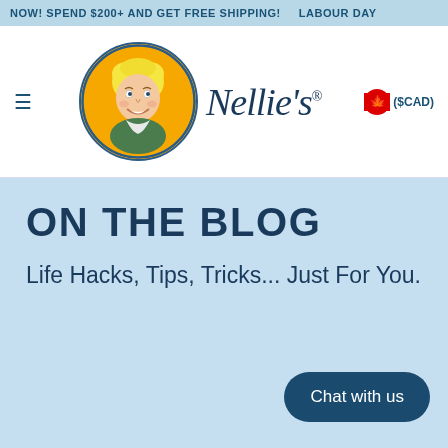NOW! SPEND $200+ AND GET FREE SHIPPING! LABOUR DAY
[Figure (logo): Nellie's brand logo with illustrated woman in orange circle and cursive Nellie's text, with Canadian flag and $CAD currency badge]
ON THE BLOG
Life Hacks, Tips, Tricks... Just For You.
Chat with us